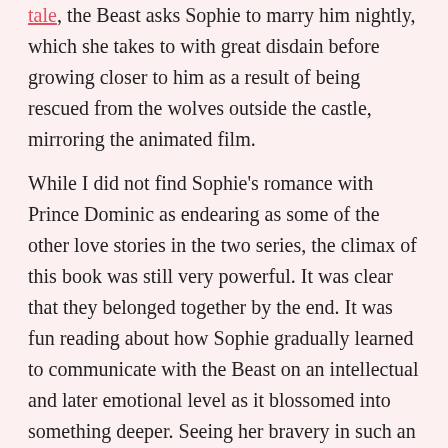tale, the Beast asks Sophie to marry him nightly, which she takes to with great disdain before growing closer to him as a result of being rescued from the wolves outside the castle, mirroring the animated film.
While I did not find Sophie's romance with Prince Dominic as endearing as some of the other love stories in the two series, the climax of this book was still very powerful. It was clear that they belonged together by the end. It was fun reading about how Sophie gradually learned to communicate with the Beast on an intellectual and later emotional level as it blossomed into something deeper. Seeing her bravery in such an uncomfortable situation made the book more enjoyable to read than A Dance of Silver and Shadow since there were no scared little girls in over their heads. In the end, the book was just as much about the strength of Sophie's relationship with Prince Dominic as it was about her relationship with Lily. I would even argue that her connection with her sister was stronger, but I don't think there's anything wrong with that